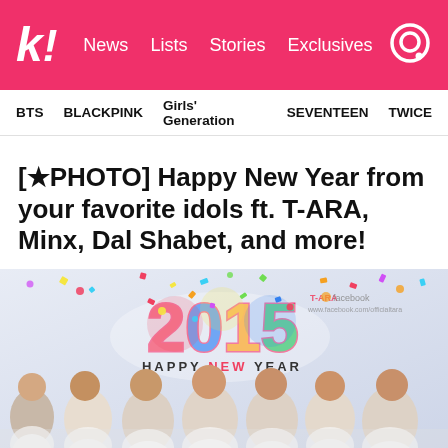k! News Lists Stories Exclusives
BTS  BLACKPINK  Girls' Generation  SEVENTEEN  TWICE
[★PHOTO] Happy New Year from your favorite idols ft. T-ARA, Minx, Dal Shabet, and more!
[Figure (photo): T-ARA 2015 Happy New Year photo with group members in white clothes, colorful confetti background and '2015 HAPPY NEW YEAR' text, T-ARA facebook watermark visible]